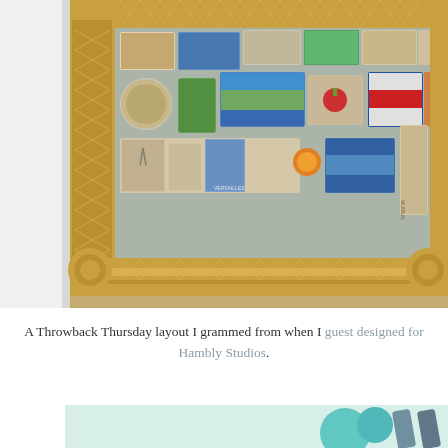[Figure (photo): An ornate gold decorative frame containing a bulletin board covered with travel postcards, magnets, and souvenirs. The frame has elaborate carved baroque-style decorations with floral and scroll motifs. The board inside shows various travel photos and trinkets from locations like Versailles. Photo is cropped showing partial frame edges.]
A Throwback Thursday layout I grammed from when I guest designed for Hambly Studios.
[Figure (photo): Partial view of another layout or photo at the bottom of the page, showing a light blue/teal background with what appears to be decorative elements.]